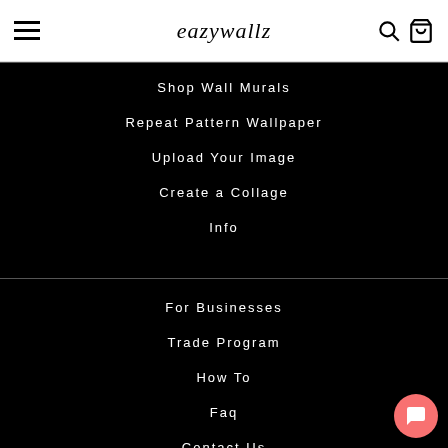eazywallz
Shop Wall Murals
Repeat Pattern Wallpaper
Upload Your Image
Create a Collage
Info
For Businesses
Trade Program
How To
Faq
Contact Us
Blog